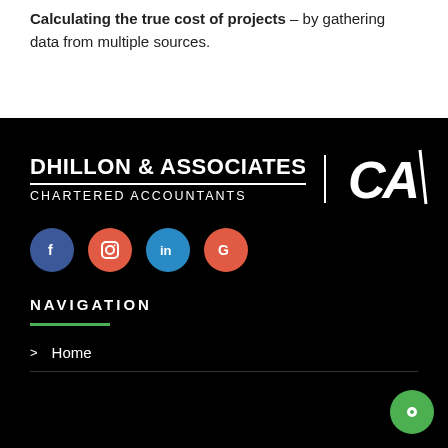Calculating the true cost of projects – by gathering data from multiple sources.
[Figure (logo): Dhillon & Associates Chartered Accountants logo with CA monogram on black background]
[Figure (infographic): Social media icons: Facebook (blue circle), Instagram (red-orange circle), LinkedIn (blue circle), Google (red-orange circle)]
NAVIGATION
Home